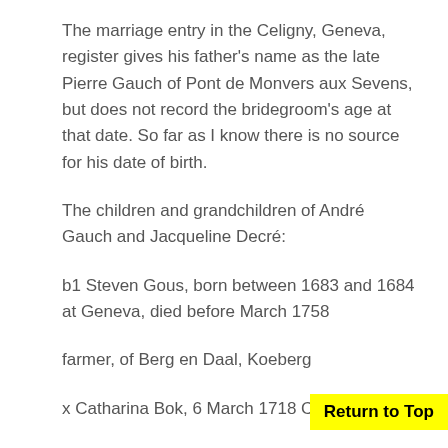The marriage entry in the Celigny, Geneva, register gives his father's name as the late Pierre Gauch of Pont de Monvers aux Sevens, but does not record the bridegroom's age at that date. So far as I know there is no source for his date of birth.
The children and grandchildren of André Gauch and Jacqueline Decré:
b1 Steven Gous, born between 1683 and 1684 at Geneva, died before March 1758
farmer, of Berg en Daal, Koeberg
x Catharina Bok, 6 March 1718 Cape Town
born: circa 1704-1705 at the Cape, died
Return to Top